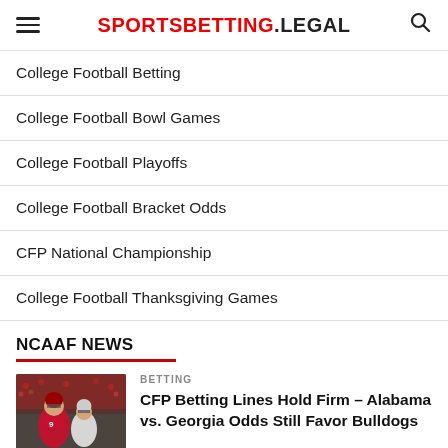SPORTSBETTING.LEGAL
College Football Betting
College Football Bowl Games
College Football Playoffs
College Football Bracket Odds
CFP National Championship
College Football Thanksgiving Games
NCAAF NEWS
[Figure (photo): Football players in action, Alabama vs Georgia game]
BETTING
CFP Betting Lines Hold Firm – Alabama vs. Georgia Odds Still Favor Bulldogs